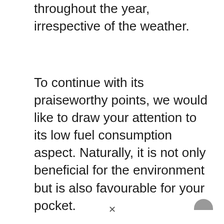throughout the year, irrespective of the weather.
To continue with its praiseworthy points, we would like to draw your attention to its low fuel consumption aspect. Naturally, it is not only beneficial for the environment but is also favourable for your pocket.